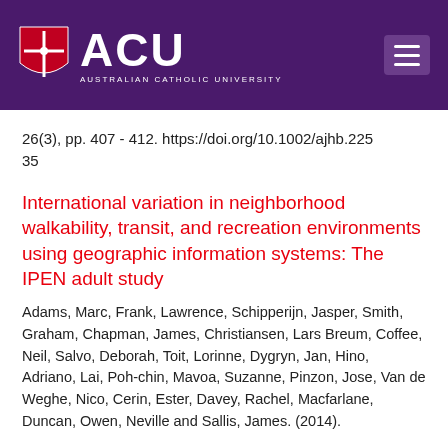[Figure (logo): Australian Catholic University (ACU) header bar with red shield logo, ACU text, and hamburger menu icon on purple background]
26(3), pp. 407 - 412. https://doi.org/10.1002/ajhb.22535
International variation in neighborhood walkability, transit, and recreation environments using geographic information systems: The IPEN adult study
Adams, Marc, Frank, Lawrence, Schipperijn, Jasper, Smith, Graham, Chapman, James, Christiansen, Lars Breum, Coffee, Neil, Salvo, Deborah, Toit, Lorinne, Dygryn, Jan, Hino, Adriano, Lai, Poh-chin, Mavoa, Suzanne, Pinzon, Jose, Van de Weghe, Nico, Cerin, Ester, Davey, Rachel, Macfarlane, Duncan, Owen, Neville and Sallis, James. (2014).